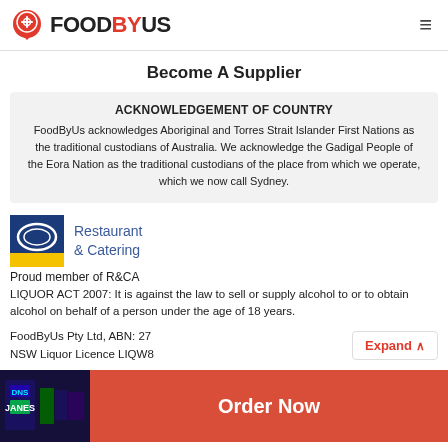FOODBYUS
Become A Supplier
ACKNOWLEDGEMENT OF COUNTRY
FoodByUs acknowledges Aboriginal and Torres Strait Islander First Nations as the traditional custodians of Australia. We acknowledge the Gadigal People of the Eora Nation as the traditional custodians of the place from which we operate, which we now call Sydney.
[Figure (logo): Restaurant & Catering logo with blue oval on yellow/blue background]
Proud member of R&CA
LIQUOR ACT 2007: It is against the law to sell or supply alcohol to or to obtain alcohol on behalf of a person under the age of 18 years.
FoodByUs Pty Ltd, ABN: 27
NSW Liquor Licence LIQW8
[Figure (photo): Neon signs photo at bottom left]
Order Now